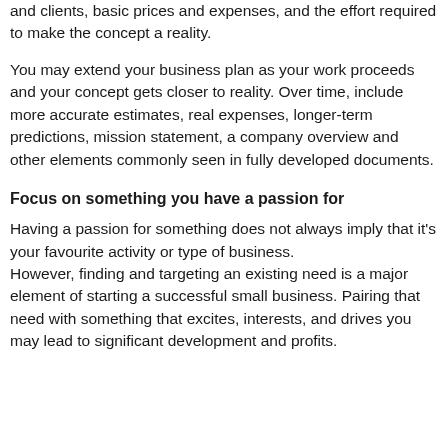and clients, basic prices and expenses, and the effort required to make the concept a reality.
You may extend your business plan as your work proceeds and your concept gets closer to reality. Over time, include more accurate estimates, real expenses, longer-term predictions, mission statement, a company overview and other elements commonly seen in fully developed documents.
Focus on something you have a passion for
Having a passion for something does not always imply that it's your favourite activity or type of business. However, finding and targeting an existing need is a major element of starting a successful small business. Pairing that need with something that excites, interests, and drives you may lead to significant development and profits.